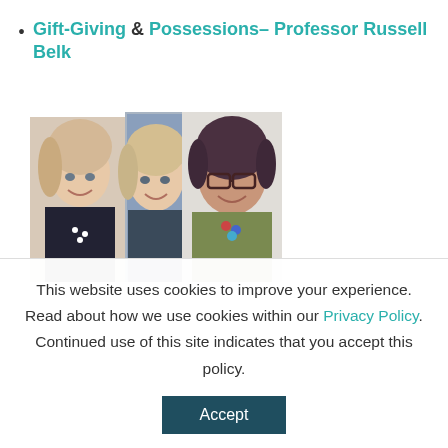Gift-Giving & Possessions– Professor Russell Belk
[Figure (photo): Collage of three women's headshot photos side by side]
This website uses cookies to improve your experience. Read about how we use cookies within our Privacy Policy. Continued use of this site indicates that you accept this policy.
Accept